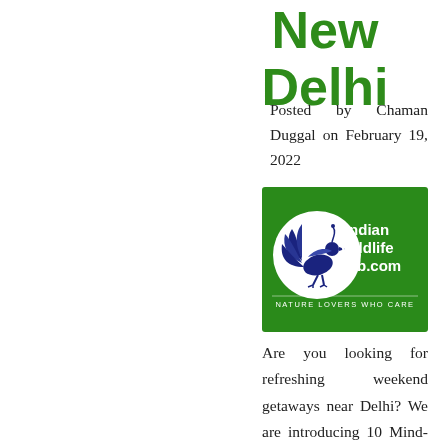New Delhi
Posted by Chaman Duggal on February 19, 2022
[Figure (logo): Indian Wildlife Club.com logo — green background with a white circle containing a blue peacock/pheasant illustration, white text reading 'Indian Wildlife Club.com' and 'NATURE LOVERS WHO CARE']
Are you looking for refreshing weekend getaways near Delhi? We are introducing 10 Mind-blowing Weekend Getaways from New Delhi. Read it carefully and get